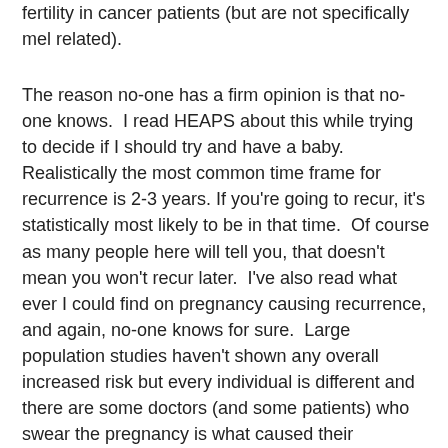fertility in cancer patients (but are not specifically mel related).
The reason no-one has a firm opinion is that no-one knows.  I read HEAPS about this while trying to decide if I should try and have a baby.  Realistically the most common time frame for recurrence is 2-3 years. If you're going to recur, it's statistically most likely to be in that time.  Of course as many people here will tell you, that doesn't mean you won't recur later.  I've also read what ever I could find on pregnancy causing recurrence, and again, no-one knows for sure.  Large population studies haven't shown any overall increased risk but every individual is different and there are some doctors (and some patients) who swear the pregnancy is what caused their recurrence.